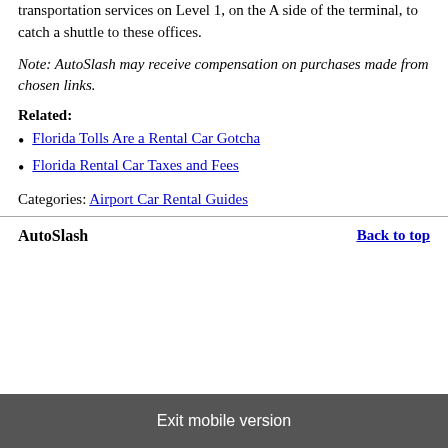transportation services on Level 1, on the A side of the terminal, to catch a shuttle to these offices.
Note: AutoSlash may receive compensation on purchases made from chosen links.
Related:
Florida Tolls Are a Rental Car Gotcha
Florida Rental Car Taxes and Fees
Categories: Airport Car Rental Guides
AutoSlash    Back to top
Exit mobile version